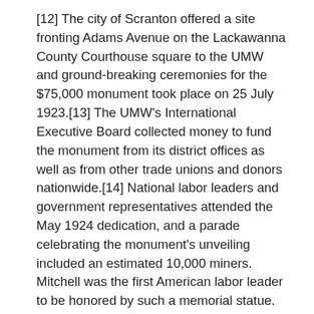[12] The city of Scranton offered a site fronting Adams Avenue on the Lackawanna County Courthouse square to the UMW and ground-breaking ceremonies for the $75,000 monument took place on 25 July 1923.[13] The UMW's International Executive Board collected money to fund the monument from its district offices as well as from other trade unions and donors nationwide.[14] National labor leaders and government representatives attended the May 1924 dedication, and a parade celebrating the monument's unveiling included an estimated 10,000 miners. Mitchell was the first American labor leader to be honored by such a memorial statue.[15]
The Multiple Property Documentation Form discusses Mitchell's and the UMW's role in the national significance of labor history in Pennsylvania's anthracite region, particularly in the strikes of 1900 and 1902. John Mitchell was beloved by coal workers